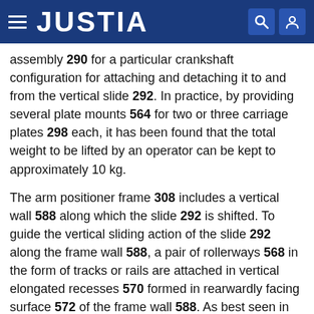JUSTIA
assembly 290 for a particular crankshaft configuration for attaching and detaching it to and from the vertical slide 292. In practice, by providing several plate mounts 564 for two or three carriage plates 298 each, it has been found that the total weight to be lifted by an operator can be kept to approximately 10 kg.
The arm positioner frame 308 includes a vertical wall 588 along which the slide 292 is shifted. To guide the vertical sliding action of the slide 292 along the frame wall 588, a pair of rollerways 568 in the form of tracks or rails are attached in vertical elongated recesses 570 formed in rearwardly facing surface 572 of the frame wall 588. As best seen in FIG. 14B, the slide 292 has roller bearing trucks 574 attached on the front thereof and captured on the rollerway tracks 568 for rolling thereon during vertical up and down sliding of the slide 292.